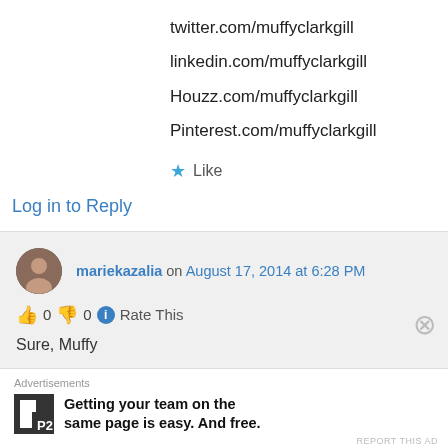twitter.com/muffyclarkgill
linkedin.com/muffyclarkgill
Houzz.com/muffyclarkgill
Pinterest.com/muffyclarkgill
★ Like
Log in to Reply
mariekazalia on August 17, 2014 at 6:28 PM
👍 0 👎 0 ℹ Rate This
Sure, Muffy
Advertisements
Getting your team on the same page is easy. And free.